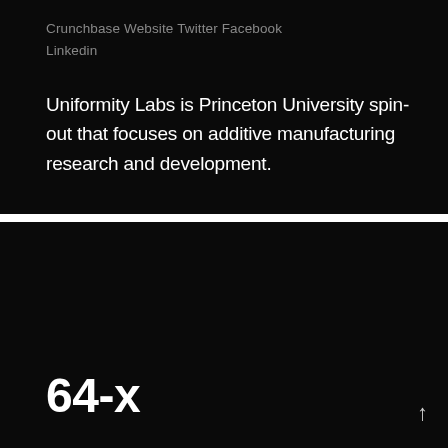Crunchbase Website Twitter Facebook Linkedin
Uniformity Labs is Princeton University spin-out that focuses on additive manufacturing research and development.
64-x